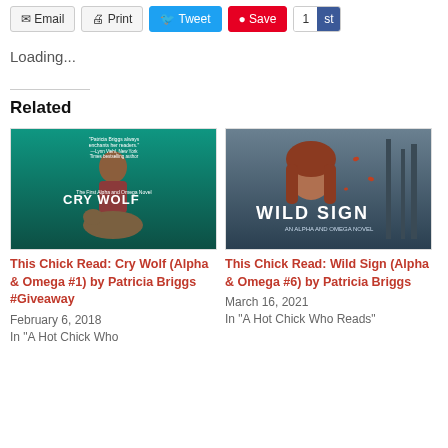Email | Print | Tweet | Save | 1 | st
Loading...
Related
[Figure (photo): Book cover: Cry Wolf by Patricia Briggs - First Alpha and Omega Novel, teal forest background with woman and wolf]
This Chick Read: Cry Wolf (Alpha & Omega #1) by Patricia Briggs #Giveaway
February 6, 2018
In "A Hot Chick Who
[Figure (photo): Book cover: Wild Sign by Patricia Briggs - An Alpha and Omega Novel, woman with red hair against trees]
This Chick Read: Wild Sign (Alpha & Omega #6) by Patricia Briggs
March 16, 2021
In "A Hot Chick Who Reads"